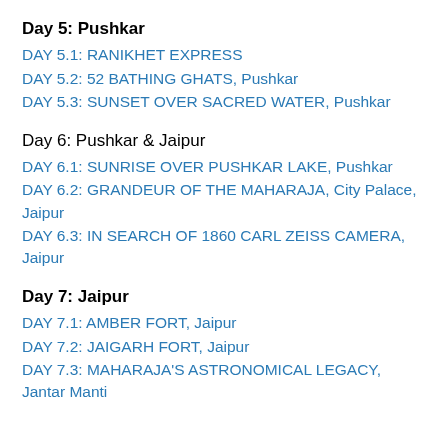Day 5: Pushkar
DAY 5.1: RANIKHET EXPRESS
DAY 5.2: 52 BATHING GHATS, Pushkar
DAY 5.3: SUNSET OVER SACRED WATER, Pushkar
Day 6: Pushkar & Jaipur
DAY 6.1: SUNRISE OVER PUSHKAR LAKE, Pushkar
DAY 6.2: GRANDEUR OF THE MAHARAJA, City Palace, Jaipur
DAY 6.3: IN SEARCH OF 1860 CARL ZEISS CAMERA, Jaipur
Day 7: Jaipur
DAY 7.1: AMBER FORT, Jaipur
DAY 7.2: JAIGARH FORT, Jaipur
DAY 7.3: MAHARAJA'S ASTRONOMICAL LEGACY, Jantar Mantar, Jaipur